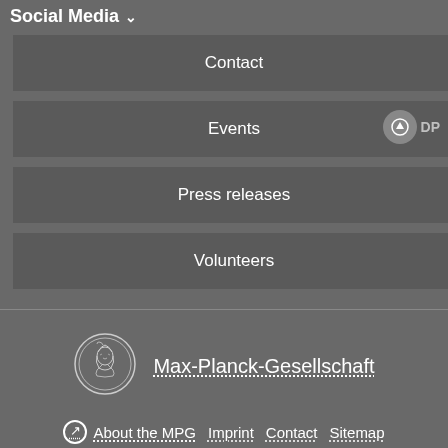Social Media
Contact
Events
Press releases
Volunteers
[Figure (logo): Max-Planck-Gesellschaft circular logo with Minerva figure]
Max-Planck-Gesellschaft
About the MPG  Imprint  Contact  Sitemap
Self-Service  Privacy Policy
© 2022, Max-Planck-Gesellschaft